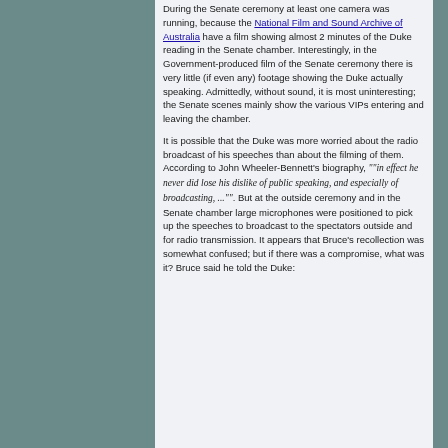During the Senate ceremony at least one camera was running, because the National Film and Sound Archive of Australia have a film showing almost 2 minutes of the Duke reading in the Senate chamber. Interestingly, in the Government-produced film of the Senate ceremony there is very little (if even any) footage showing the Duke actually speaking. Admittedly, without sound, it is most uninteresting; the Senate scenes mainly show the various VIPs entering and leaving the chamber.

It is possible that the Duke was more worried about the radio broadcast of his speeches than about the filming of them. According to John Wheeler-Bennett's biography, ""in effect he never did lose his dislike of public speaking, and especially of broadcasting, ..."". But at the outside ceremony and in the Senate chamber large microphones were positioned to pick up the speeches to broadcast to the spectators outside and for radio transmission. It appears that Bruce's recollection was somewhat confused; but if there was a compromise, what was it? Bruce said he told the Duke: